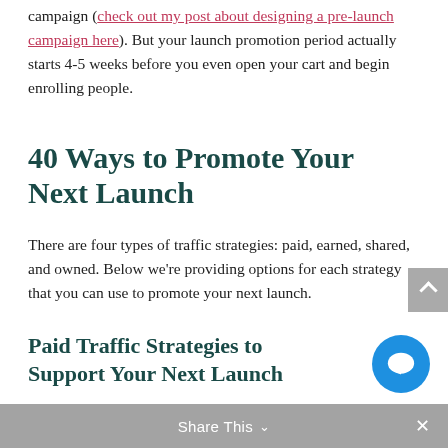campaign (check out my post about designing a pre-launch campaign here). But your launch promotion period actually starts 4-5 weeks before you even open your cart and begin enrolling people.
40 Ways to Promote Your Next Launch
There are four types of traffic strategies: paid, earned, shared, and owned. Below we're providing options for each strategy that you can use to promote your next launch.
Paid Traffic Strategies to Support Your Next Launch